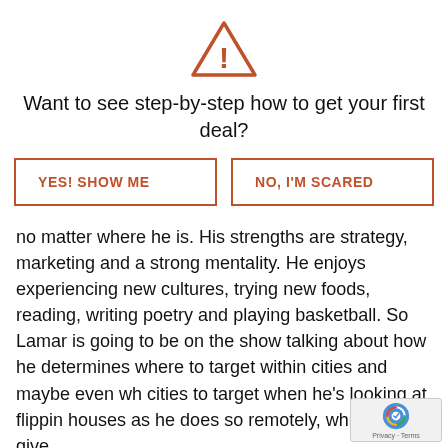[Figure (illustration): Orange outlined warning triangle with exclamation mark icon]
Want to see step-by-step how to get your first deal?
[Figure (infographic): Two orange-outlined buttons: 'YES! SHOW ME' and 'NO, I'M SCARED']
no matter where he is. His strengths are strategy, marketing and a strong mentality. He enjoys experiencing new cultures, trying new foods, reading, writing poetry and playing basketball. So Lamar is going to be on the show talking about how he determines where to target within cities and maybe even wh cities to target when he's looking at flippin houses as he does so remotely, which will give